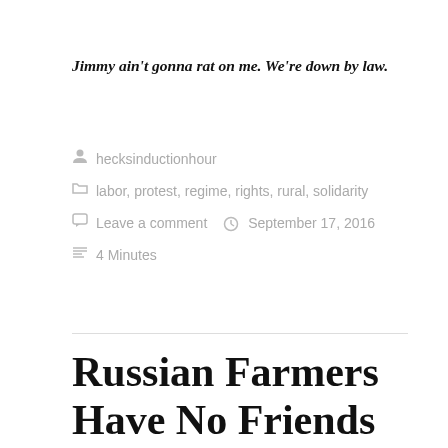Jimmy ain't gonna rat on me. We're down by law.
hecksinductionhour
labor, protest, regime, rights, rural, solidarity
Leave a comment   September 17, 2016
4 Minutes
Russian Farmers Have No Friends
[Figure (photo): A billboard or outdoor advertisement featuring two people in traditional dress with sunflowers, with Cyrillic text reading КРАСНОДАРСКИЙ КРАЙ (Krasnodar Krai)]